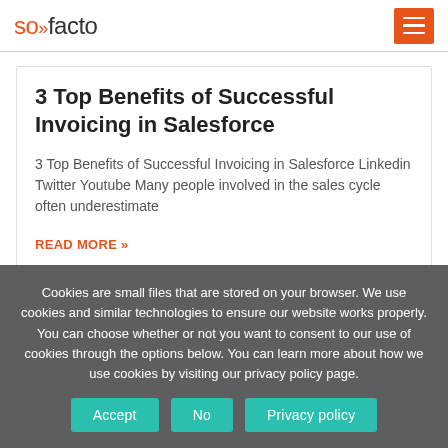so»facto
3 Top Benefits of Successful Invoicing in Salesforce
3 Top Benefits of Successful Invoicing in Salesforce Linkedin Twitter Youtube Many people involved in the sales cycle often underestimate
READ MORE »
Cookies are small files that are stored on your browser. We use cookies and similar technologies to ensure our website works properly. You can choose whether or not you want to consent to our use of cookies through the options below. You can learn more about how we use cookies by visiting our privacy policy page.
Accept | No | Privacy policy